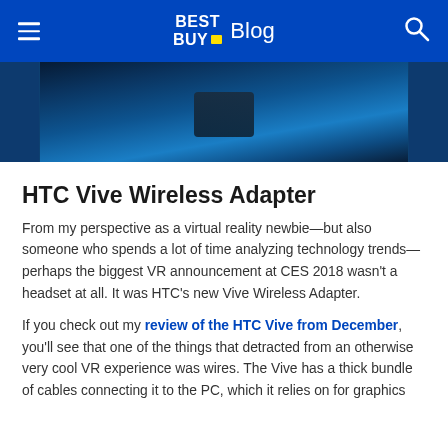BEST BUY Blog
[Figure (photo): Close-up of HTC Vive VR headset on a dark blue background, showing the top portion of the headset.]
HTC Vive Wireless Adapter
From my perspective as a virtual reality newbie—but also someone who spends a lot of time analyzing technology trends—perhaps the biggest VR announcement at CES 2018 wasn't a headset at all. It was HTC's new Vive Wireless Adapter.
If you check out my review of the HTC Vive from December, you'll see that one of the things that detracted from an otherwise very cool VR experience was wires. The Vive has a thick bundle of cables connecting it to the PC, which it relies on for graphics